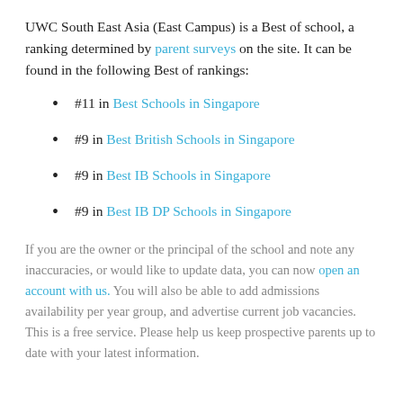UWC South East Asia (East Campus) is a Best of school, a ranking determined by parent surveys on the site. It can be found in the following Best of rankings:
#11 in Best Schools in Singapore
#9 in Best British Schools in Singapore
#9 in Best IB Schools in Singapore
#9 in Best IB DP Schools in Singapore
If you are the owner or the principal of the school and note any inaccuracies, or would like to update data, you can now open an account with us. You will also be able to add admissions availability per year group, and advertise current job vacancies. This is a free service. Please help us keep prospective parents up to date with your latest information.